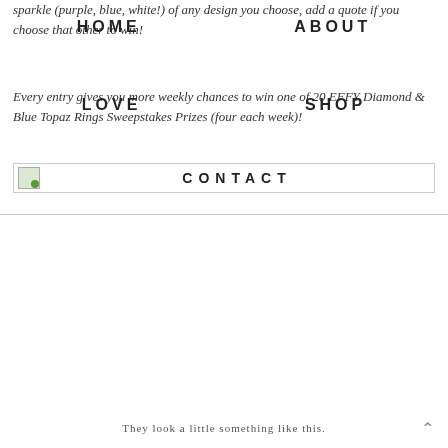sparkle (purple, blue, white!) of any design you choose, add a quote if you choose that other to win!
HOME   ABOUT   LOVE   SHOP
Every entry gives you more weekly chances to win one of 20 EFFY Diamond & Blue Topaz Rings Sweepstakes Prizes (four each week)!
[Figure (other): CONTACT navigation bar with small image icon on left and CONTACT text centered]
They look a little something like this.